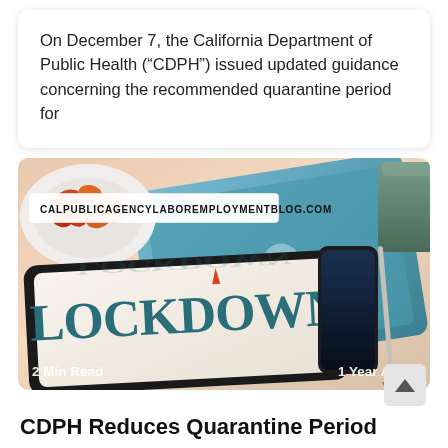On December 7, the California Department of Public Health (“CDPH”) issued updated guidance concerning the recommended quarantine period for
[Figure (photo): Photo of a desk with a laptop, bowl of candy, mug, tablet displaying LOCKDOWN text, smartphone, and pencil. URL banner reads CALPUBLICAGENCYLABOREMPLOYMENTBLOG.COM. Bottom left badge: 2 Min Read. Bottom right badge: 1 Year Ago.]
CDPH Reduces Quarantine Period